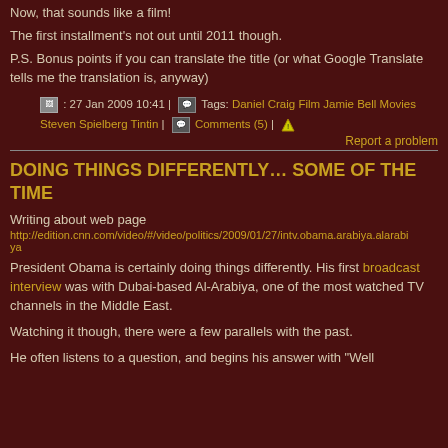Now, that sounds like a film!
The first installment's not out until 2011 though.
P.S. Bonus points if you can translate the title (or what Google Translate tells me the translation is, anyway)
: 27 Jan 2009 10:41 | Tags: Daniel Craig Film Jamie Bell Movies Steven Spielberg Tintin | Comments (5) | Report a problem
DOING THINGS DIFFERENTLY… SOME OF THE TIME
Writing about web page
http://edition.cnn.com/video/#/video/politics/2009/01/27/intv.obama.arabiya.alarabiya
President Obama is certainly doing things differently. His first broadcast interview was with Dubai-based Al-Arabiya, one of the most watched TV channels in the Middle East.
Watching it though, there were a few parallels with the past.
He often listens to a question, and begins his answer with "Well